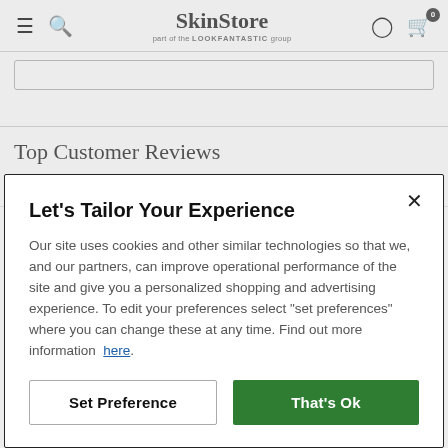SkinStore — part of the LOOKFANTASTIC group
Top Customer Reviews
Where reviews refer to foods or cosmetic products, results may
Let's Tailor Your Experience
Our site uses cookies and other similar technologies so that we, and our partners, can improve operational performance of the site and give you a personalized shopping and advertising experience. To edit your preferences select "set preferences" where you can change these at any time. Find out more information here.
Set Preference | That's Ok